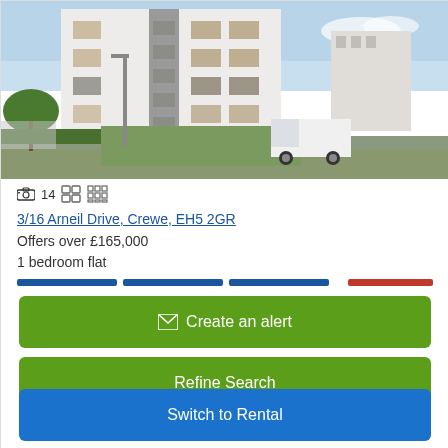[Figure (photo): Exterior photo of a modern 5-storey residential apartment building with white and grey facade. A white van is parked in the foreground, with green lawn and pathways visible.]
📷 14  ⊞  ⊞
3/16 Arneil Drive, Crewe, EH5 2GR
Offers over £165,000
1 bedroom flat
✉ Create an alert
Refine Search
Switch to Rental